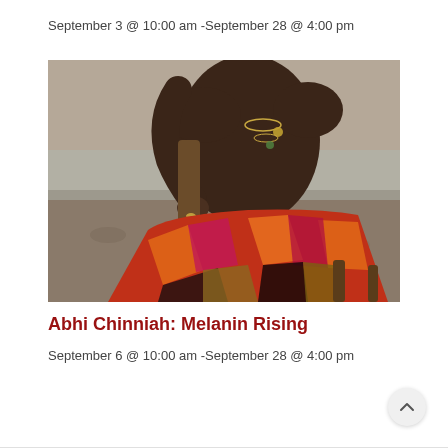September 3 @ 10:00 am -September 28 @ 4:00 pm
[Figure (photo): A shirtless person wearing colorful plaid/patterned orange, red, magenta, and black fabric draped over their lap, seated on a wooden stool outdoors near water, wearing necklaces. The upper body and face are cropped out of frame.]
Abhi Chinniah: Melanin Rising
September 6 @ 10:00 am -September 28 @ 4:00 pm